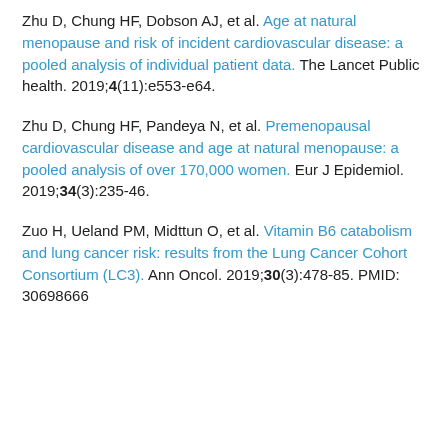Zhu D, Chung HF, Dobson AJ, et al. Age at natural menopause and risk of incident cardiovascular disease: a pooled analysis of individual patient data. The Lancet Public health. 2019;4(11):e553-e64.
Zhu D, Chung HF, Pandeya N, et al. Premenopausal cardiovascular disease and age at natural menopause: a pooled analysis of over 170,000 women. Eur J Epidemiol. 2019;34(3):235-46.
Zuo H, Ueland PM, Midttun O, et al. Vitamin B6 catabolism and lung cancer risk: results from the Lung Cancer Cohort Consortium (LC3). Ann Oncol. 2019;30(3):478-85. PMID: 30698666